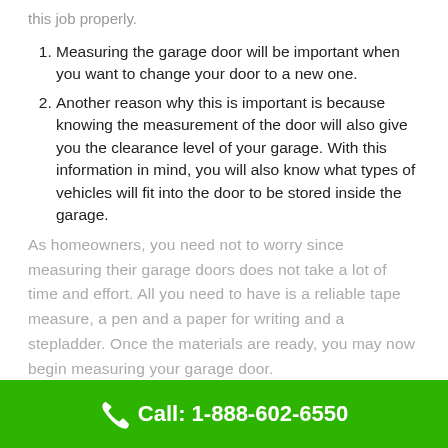this job properly.
Measuring the garage door will be important when you want to change your door to a new one.
Another reason why this is important is because knowing the measurement of the door will also give you the clearance level of your garage. With this information in mind, you will also know what types of vehicles will fit into the door to be stored inside the garage.
As homeowners, you need not to worry since measuring their garage doors does not take a lot of time and effort. All you need to have is a reliable tape measure, a pen and a paper for writing and a stepladder. Once the materials are ready, you may now begin measuring your garage door.
Call: 1-888-602-6550